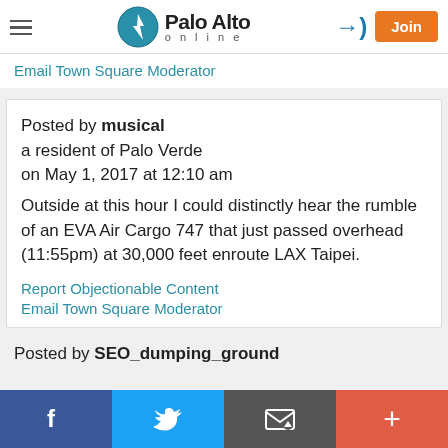Palo Alto online
Email Town Square Moderator
Posted by musical
a resident of Palo Verde
on May 1, 2017 at 12:10 am
Outside at this hour I could distinctly hear the rumble of an EVA Air Cargo 747 that just passed overhead (11:55pm) at 30,000 feet enroute LAX Taipei.
Report Objectionable Content
Email Town Square Moderator
Posted by SEO_dumping_ground